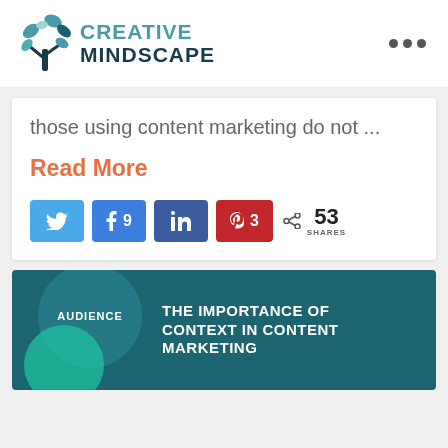[Figure (logo): Creative Mindscape logo with tree/leaf icon and text]
those using content marketing do not ...
Read More
[Figure (infographic): Social share buttons: Twitter, Facebook (9), LinkedIn, Pinterest (3), and 53 Shares count]
[Figure (infographic): Teal card with overlapping circles labeled AUDIENCE and title: THE IMPORTANCE OF CONTEXT IN CONTENT MARKETING]